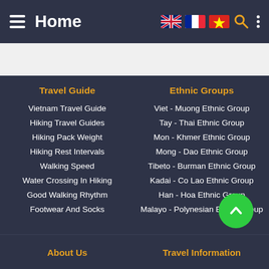Home
[Figure (screenshot): Navigation bar with hamburger menu, Home title, UK/France/Vietnam flags, search icon, and vertical dots menu]
Travel Guide
Vietnam Travel Guide
Hiking Travel Guides
Hiking Pack Weight
Hiking Rest Intervals
Walking Speed
Water Crossing In Hiking
Good Walking Rhythm
Footwear And Socks
Ethnic Groups
Viet - Muong Ethnic Group
Tay - Thai Ethnic Group
Mon - Khmer Ethnic Group
Mong - Dao Ethnic Group
Tibeto - Burman Ethnic Group
Kadai - Co Lao Ethnic Group
Han - Hoa Ethnic Group
Malayo - Polynesian Ethnic Group
About Us  Travel Information